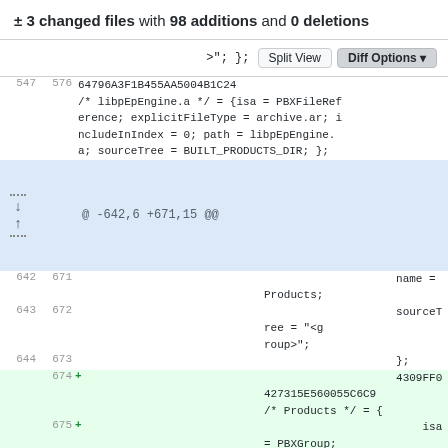± 3 changed files with 98 additions and 0 deletions
[Figure (screenshot): Git diff view showing code changes to an Xcode project file. Lines 547/576 show a libpEpEngine.a file reference entry. A hunk header shows @@ -642,6 +671,15 @@. Lines 642-644 show name = Products, sourceTree, and closing brace. Lines 674-677 are additions (green) showing a new PBXGroup entry for Products with isa=PBXGroup, children, and a reference to libpEpTransport_macOS.a.]